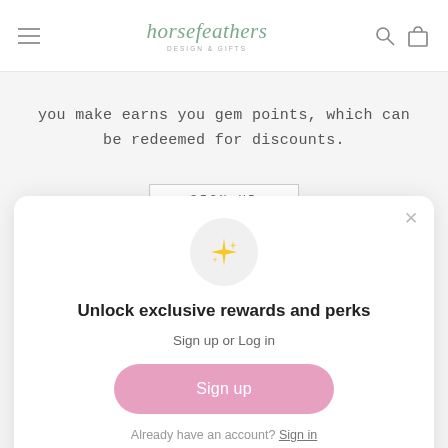horsefeathers
you make earns you gem points, which can be redeemed for discounts.
SIGN UP
[Figure (screenshot): Modal popup with sparkle emoji icon, title 'Unlock exclusive rewards and perks', subtitle 'Sign up or Log in', a pink 'Sign up' button, and a 'Already have an account? Sign in' link. A close (×) button is in the top right corner.]
Unlock exclusive rewards and perks
Sign up or Log in
Sign up
Already have an account? Sign in